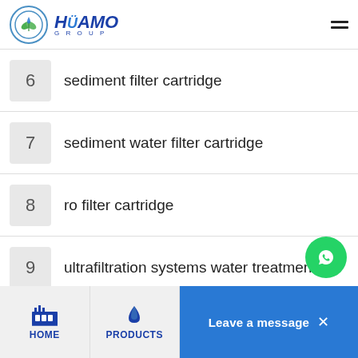[Figure (logo): Huamo Group logo with circular leaf icon and bold italic blue text HUAMO GROUP]
6  sediment filter cartridge
7  sediment water filter cartridge
8  ro filter cartridge
9  ultrafiltration systems water treatment
10  stainless steel membrane shell
HOME   PRODUCTS   Leave a message ×